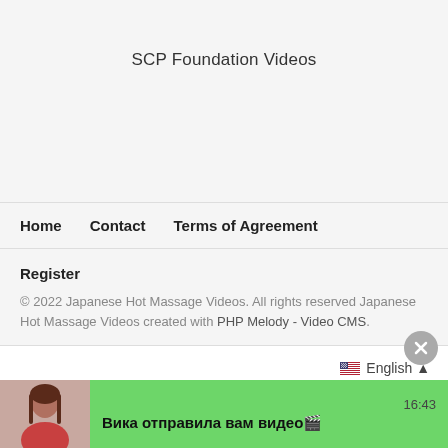SCP Foundation Videos
Home   Contact   Terms of Agreement
Register
© 2022 Japanese Hot Massage Videos. All rights reserved Japanese Hot Massage Videos created with PHP Melody - Video CMS.
English ▲
16:43
Вика отправила вам видео🎬